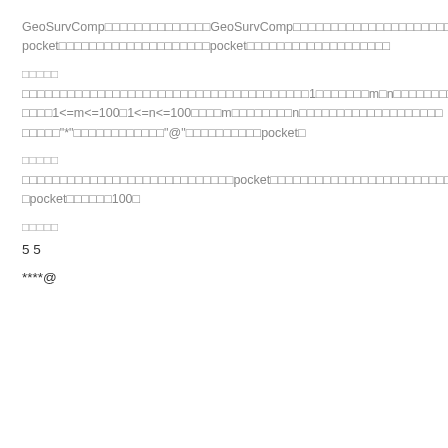GeoSurvComp□□□□□□□□□□□□□□GeoSurvComp□□□□□□□□□□□□□□□□□□□□□□□□□□□□□□□□□□□□□□□□□□□□□□□□□□□□□□□□□□□□□□□□□□□□□□□□□□pocket□□□□
pocket□□□□□□□□□□□□□□□□□□□□pocket□□□□□□□□□□□□□□□□□□□
□□□□□
□□□□□□□□□□□□□□□□□□□□□□□□□□□□□□□□□□□□□□1□□□□□□□m□n□□□□□□□□□□□□□□□m=0□□□□□□□□□1<=m<=100□1<=n<=100□□□□m□□□□□□□□n□□□□□□□□□□□□□□□□□□□□□□□□□"*"□□□□□□□□□□□□"@"□□□□□□□□□□pocket□
□□□□□
□□□□□□□□□□□□□□□□□□□□□□□□□□□□pocket□□□□□□□□□□□□□□□□□□□□□□□□□□□□□□□□□□□pocket□□□□□□100□
□□□□□
5  5
****@